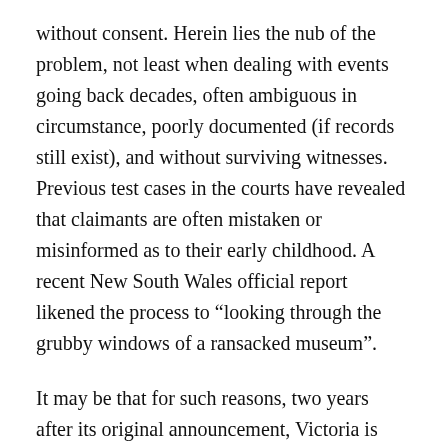without consent. Herein lies the nub of the problem, not least when dealing with events going back decades, often ambiguous in circumstance, poorly documented (if records still exist), and without surviving witnesses. Previous test cases in the courts have revealed that claimants are often mistaken or misinformed as to their early childhood. A recent New South Wales official report likened the process to “looking through the grubby windows of a ransacked museum”.
It may be that for such reasons, two years after its original announcement, Victoria is still to articulate the nature of its promised scheme. Queensland and Western Australia continue to resist making similar commitments.